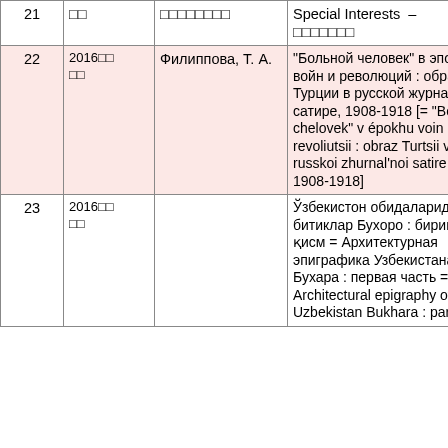| # | Year | Author | Title |
| --- | --- | --- | --- |
| 21 | □□ | □□□□□□□□ | Special Interests – □□□□□□□ |
| 22 | 2016□□
□□ | Филиппова, Т. А. | "Больной человек" в эпоху войн и революций : образ Турции в русской журнальной сатире, 1908-1918 [= "Bol'no chelovek" v épokhu voin i revoliutsii : obraz Turtsii v russkoi zhurnal'noi satire, 1908-1918] |
| 23 | 2016□□
□□ |  | Ўзбекистон обидаларидаги битиклар Бухоро : биринчи қисм = Архитектурная эпиграфика Узбекистана Бухара : первая часть = Architectural epigraphy of Uzbekistan Bukhara : part one |